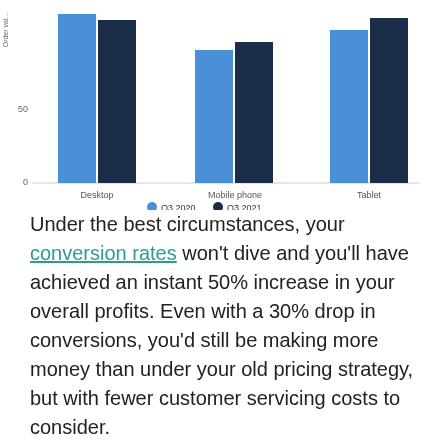[Figure (grouped-bar-chart): Order value by device]
Under the best circumstances, your conversion rates won't dive and you'll have achieved an instant 50% increase in your overall profits. Even with a 30% drop in conversions, you'd still be making more money than under your old pricing strategy, but with fewer customer servicing costs to consider.